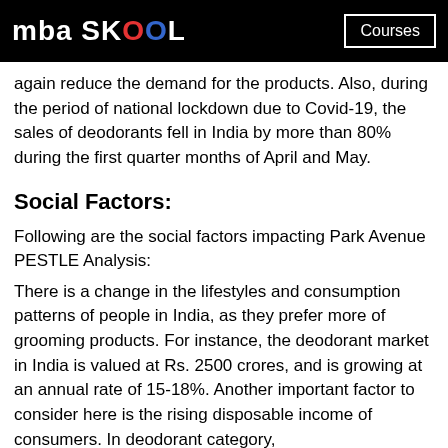mba SKOOL | Courses
again reduce the demand for the products. Also, during the period of national lockdown due to Covid-19, the sales of deodorants fell in India by more than 80% during the first quarter months of April and May.
Social Factors:
Following are the social factors impacting Park Avenue PESTLE Analysis:
There is a change in the lifestyles and consumption patterns of people in India, as they prefer more of grooming products. For instance, the deodorant market in India is valued at Rs. 2500 crores, and is growing at an annual rate of 15-18%. Another important factor to consider here is the rising disposable income of consumers. In deodorant category,